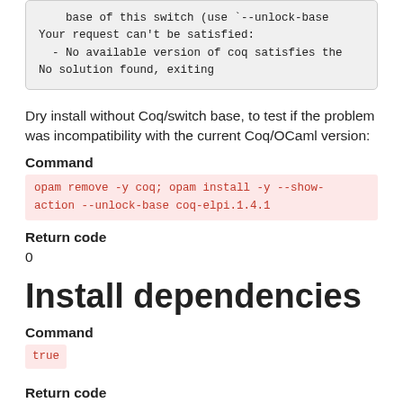base of this switch (use `--unlock-base
Your request can't be satisfied:
  - No available version of coq satisfies the
No solution found, exiting
Dry install without Coq/switch base, to test if the problem was incompatibility with the current Coq/OCaml version:
Command
opam remove -y coq; opam install -y --show-action --unlock-base coq-elpi.1.4.1
Return code
0
Install dependencies
Command
true
Return code